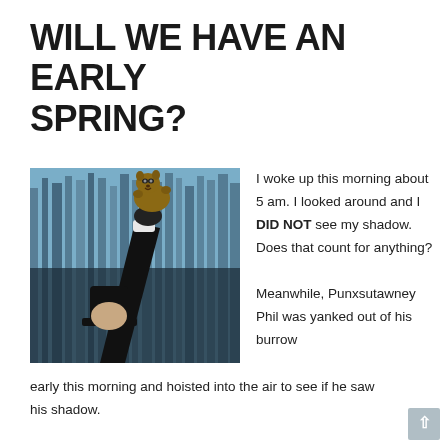WILL WE HAVE AN EARLY SPRING?
[Figure (photo): A person in a top hat and black coat holding a groundhog (Punxsutawney Phil) raised up in the air against a background of bare winter trees]
I woke up this morning about 5 am. I looked around and I DID NOT see my shadow. Does that count for anything?

Meanwhile, Punxsutawney Phil was yanked out of his burrow early this morning and hoisted into the air to see if he saw his shadow.